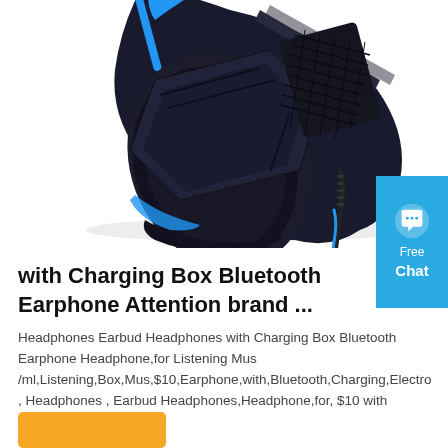[Figure (photo): Product photo of a black gaming headphone/headset with blue accents and braided cable, shown from the ear cup side against a white background. Partially cropped showing the lower portion of the headset.]
with Charging Box Bluetooth Earphone Attention brand ...
Headphones Earbud Headphones with Charging Box Bluetooth Earphone Headphone,for Listening Mus /ml,Listening,Box,Mus,$10,Earphone,with,Bluetooth,Charging,Electro , Headphones , Earbud Headphones,Headphone,for, $10 with Charging Box ...
[Figure (other): Blue chat widget button showing speech bubble icon with text 'Free Chat']